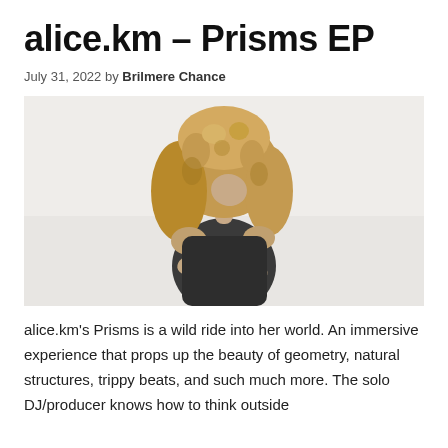alice.km – Prisms EP
July 31, 2022 by Brilmere Chance
[Figure (photo): A woman with long curly blonde hair wearing a dark sleeveless top, leaning forward with her arms crossed, photographed against a light grey/white background.]
alice.km's Prisms is a wild ride into her world. An immersive experience that props up the beauty of geometry, natural structures, trippy beats, and such much more. The solo DJ/producer knows how to think outside